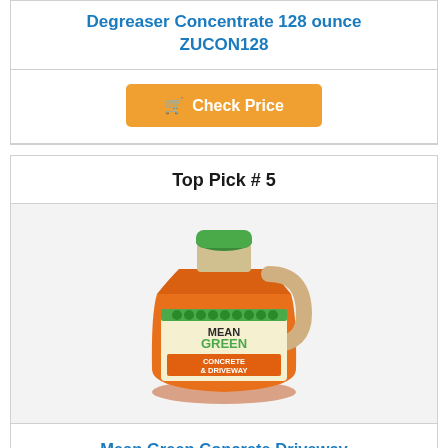Degreaser Concentrate 128 ounce ZUCON128
[Figure (other): Orange button with shopping cart icon and text 'Check Price']
Top Pick # 5
[Figure (photo): Mean Green Concrete & Driveway Degreaser, orange gallon jug with green cap and branded label]
Mean Green Concrete Driveway Degreaser, 128 fl oz